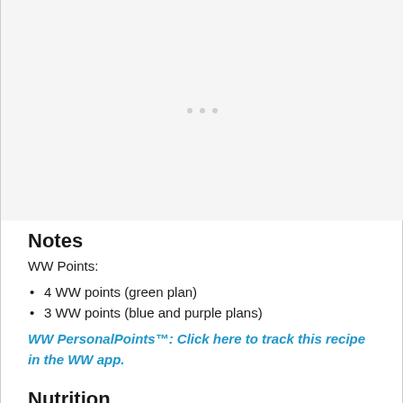[Figure (other): Light gray placeholder area with three faint dots in the center, representing a loading or image placeholder region]
Notes
WW Points:
4 WW points (green plan)
3 WW points (blue and purple plans)
WW PersonalPoints™: Click here to track this recipe in the WW app.
Nutrition